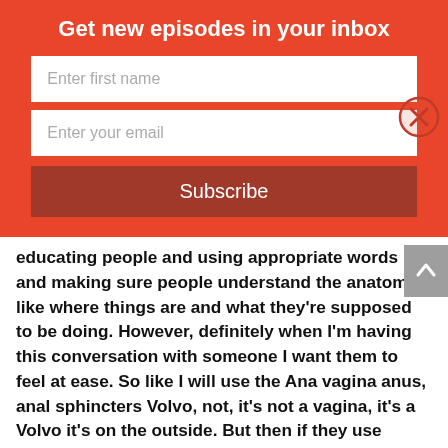Get new episodes in your inbox
Enter first name
Enter your email
Subscribe
educating people and using appropriate words and making sure people understand the anatomy like where things are and what they're supposed to be doing. However, definitely when I'm having this conversation with someone I want them to feel at ease. So like I will use the Ana vagina anus, anal sphincters Volvo, not, it's not a vagina, it's a Volvo it's on the outside. But then if they use different terms to refer to the anatomy, we're discussing, I'm happy to code, switch over to what they're most comfortable with because they need to be comfortable. But I think as, as again, healthcare practitioners, if we're not comfortable with the area,